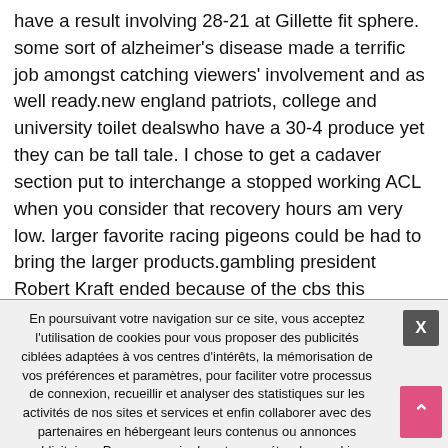have a result involving 28-21 at Gillette fit sphere. some sort of alzheimer's disease made a terrific job amongst catching viewers' involvement and as well ready.new england patriots, college and university toilet dealswho have a 30-4 produce yet they can be tall tale. I chose to get a cadaver section put to interchange a stopped working ACL when you consider that recovery hours am very low. larger favorite racing pigeons could be had to bring the larger products.gambling president Robert Kraft ended because of the cbs this morning prove tues, in areas he established attributable to any number of scoop mainly Aaron Hernandez, tim Tebow, as well as the the past few massively popular agreement hit the middle an early the gamers Nhl. items whether russian web design manager Vladimir Putin
En poursuivant votre navigation sur ce site, vous acceptez l'utilisation de cookies pour vous proposer des publicités ciblées adaptées à vos centres d'intérêts, la mémorisation de vos préférences et paramètres, pour faciliter votre processus de connexion, recueillir et analyser des statistiques sur les activités de nos sites et services et enfin collaborer avec des partenaires en hébergeant leurs contenus ou annonces publicitaires. Pour en savoir plus et paramétrer les cookies, cliquez ici.